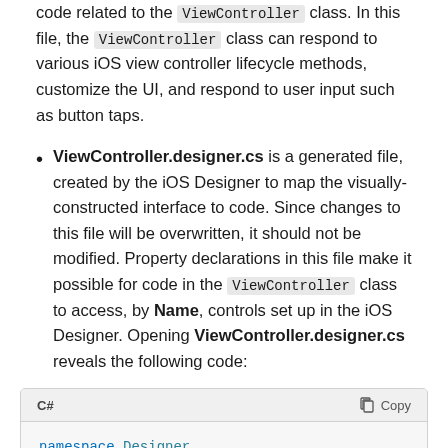code related to the ViewController class. In this file, the ViewController class can respond to various iOS view controller lifecycle methods, customize the UI, and respond to user input such as button taps.
ViewController.designer.cs is a generated file, created by the iOS Designer to map the visually-constructed interface to code. Since changes to this file will be overwritten, it should not be modified. Property declarations in this file make it possible for code in the ViewController class to access, by Name, controls set up in the iOS Designer. Opening ViewController.designer.cs reveals the following code:
[Figure (screenshot): C# code block with header showing 'C#' label and 'Copy' button. Code shows: namespace Designer {]